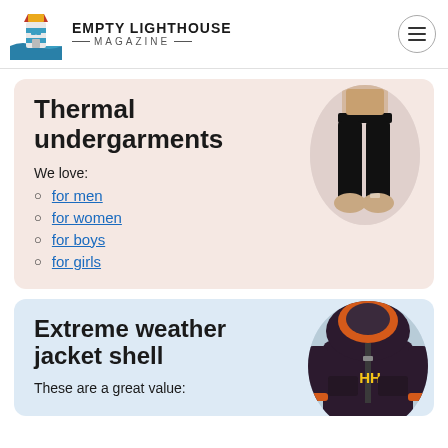EMPTY LIGHTHOUSE MAGAZINE
Thermal undergarments
We love:
for men
for women
for boys
for girls
[Figure (photo): Black thermal leggings on a model, shown in an oval crop]
Extreme weather jacket shell
These are a great value:
[Figure (photo): Dark purple Helly Hansen extreme weather jacket with orange hood, shown in oval crop]